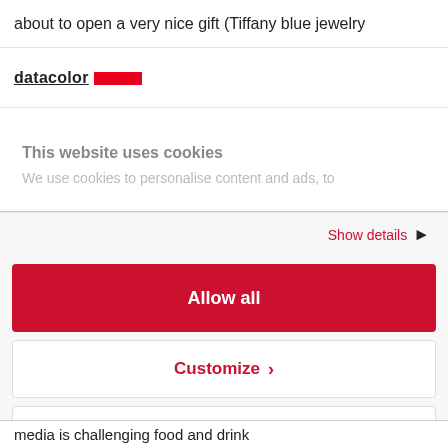about to open a very nice gift (Tiffany blue jewelry
[Figure (logo): Datacolor logo: bold text 'datacolor' underlined with a red horizontal bar to the right]
This website uses cookies
We use cookies to personalise content and ads, to
Show details ›
Allow all
Customize ›
Deny
Powered by Cookiebot by Usercentrics
media is challenging food and drink